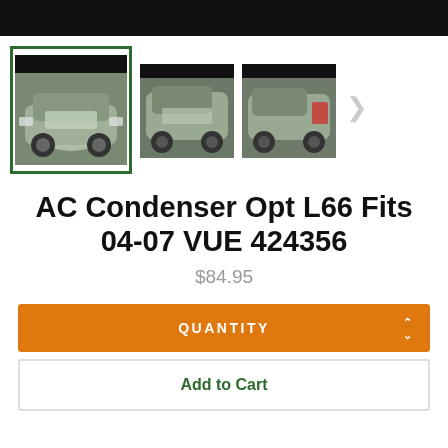[Figure (photo): Product listing page showing three thumbnails of a Saturn VUE SUV — front view (selected, green border), side view, and rear view — on a white e-commerce background with a black top bar.]
AC Condenser Opt L66 Fits 04-07 VUE 424356
$84.95
QUANTITY
Add to Cart